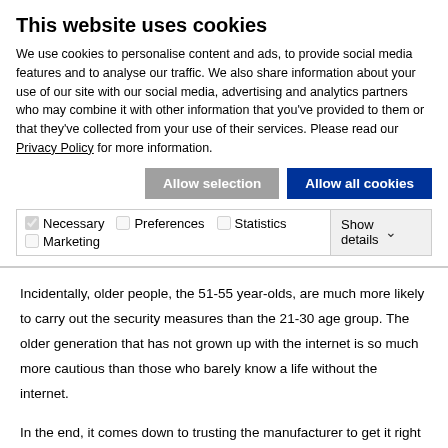This website uses cookies
We use cookies to personalise content and ads, to provide social media features and to analyse our traffic. We also share information about your use of our site with our social media, advertising and analytics partners who may combine it with other information that you've provided to them or that they've collected from your use of their services. Please read our Privacy Policy for more information.
Allow selection | Allow all cookies
| Necessary | Preferences | Statistics | Marketing | Show details |
| --- | --- | --- | --- | --- |
Incidentally, older people, the 51-55 year-olds, are much more likely to carry out the security measures than the 21-30 age group. The older generation that has not grown up with the internet is so much more cautious than those who barely know a life without the internet.
In the end, it comes down to trusting the manufacturer to get it right in terms of safety, either because they lack the knowledge or the technical resources to take care of it themselves. Of course, it